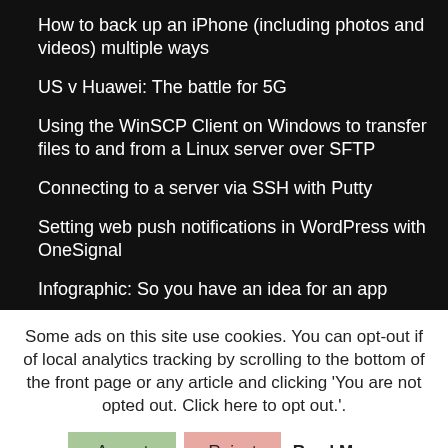How to back up an iPhone (including photos and videos) multiple ways
US v Huawei: The battle for 5G
Using the WinSCP Client on Windows to transfer files to and from a Linux server over SFTP
Connecting to a server via SSH with Putty
Setting web push notifications in WordPress with OneSignal
Infographic: So you have an idea for an app
Some ads on this site use cookies. You can opt-out if of local analytics tracking by scrolling to the bottom of the front page or any article and clicking 'You are not opted out. Click here to opt out.'.